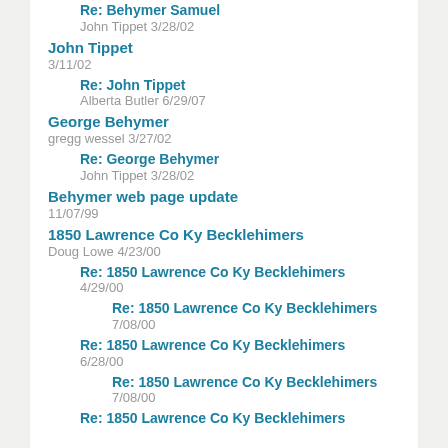Re: Behymer Samuel
John Tippet 3/28/02
John Tippet
3/11/02
Re: John Tippet
Alberta Butler 6/29/07
George Behymer
gregg wessel 3/27/02
Re: George Behymer
John Tippet 3/28/02
Behymer web page update
11/07/99
1850 Lawrence Co Ky Becklehimers
Doug Lowe 4/23/00
Re: 1850 Lawrence Co Ky Becklehimers
4/29/00
Re: 1850 Lawrence Co Ky Becklehimers
7/08/00
Re: 1850 Lawrence Co Ky Becklehimers
6/28/00
Re: 1850 Lawrence Co Ky Becklehimers
7/08/00
Re: 1850 Lawrence Co Ky Becklehimers